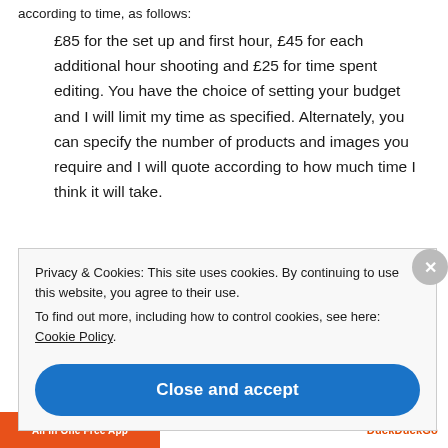according to time, as follows:
£85 for the set up and first hour, £45 for each additional hour shooting and £25 for time spent editing. You have the choice of setting your budget and I will limit my time as specified. Alternately, you can specify the number of products and images you require and I will quote according to how much time I think it will take.
Privacy & Cookies: This site uses cookies. By continuing to use this website, you agree to their use.
To find out more, including how to control cookies, see here: Cookie Policy
Close and accept